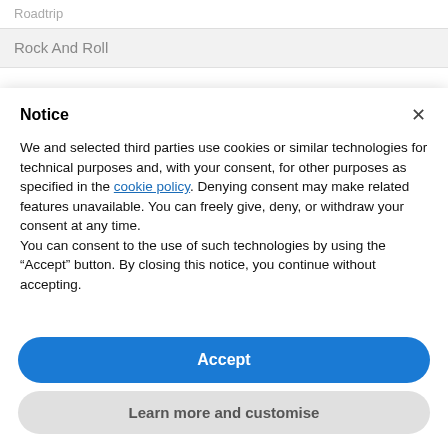Roadtrip
Rock And Roll
Notice
We and selected third parties use cookies or similar technologies for technical purposes and, with your consent, for other purposes as specified in the cookie policy. Denying consent may make related features unavailable. You can freely give, deny, or withdraw your consent at any time.
You can consent to the use of such technologies by using the “Accept” button. By closing this notice, you continue without accepting.
Accept
Learn more and customise